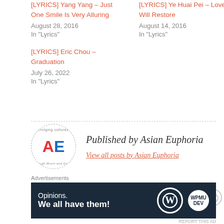[LYRICS] Yang Yang – Just One Smile Is Very Alluring
August 28, 2016
In "Lyrics"
[LYRICS] Ye Huai Pei – Love Will Restore
August 14, 2016
In "Lyrics"
[LYRICS] Eric Chou – Graduation
July 26, 2022
In "Lyrics"
[Figure (logo): Asian Euphoria circular logo with red A and blue E, dashed border, text 'bridging cultures' at top and 'through Music and Drama' at bottom]
Published by Asian Euphoria
View all posts by Asian Euphoria
Share this:
Advertisements
[Figure (infographic): WordPress advertisement banner: dark navy background with text 'Opinions. We all have them!' and WordPress and WpMU logos]